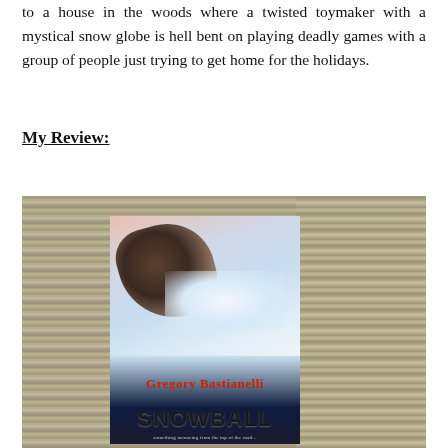to a house in the woods where a twisted toymaker with a mystical snow globe is hell bent on playing deadly games with a group of people just trying to get home for the holidays.
My Review:
[Figure (photo): Photo of the book 'Snowball' by Gregory Bastianelli placed on a carpet/textured surface. The book cover shows a winter scene with a boot/tire in snow and the title SNOWBALL in large dark letters with the author name Gregory Bastianelli in red.]